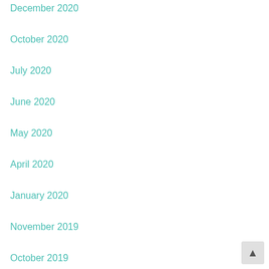December 2020
October 2020
July 2020
June 2020
May 2020
April 2020
January 2020
November 2019
October 2019
August 2019
June 2019
March 2019
February 2019
January 2019